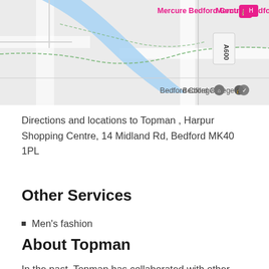[Figure (map): Google Maps screenshot showing Bedford area with Bedford College, Mercure Bedford Centre hotel marker, A600 road, and a river running through the map]
Directions and locations to Topman , Harpur Shopping Centre, 14 Midland Rd, Bedford MK40 1PL
Other Services
Men's fashion
About Topman
In the past, Topman has collaborated with other